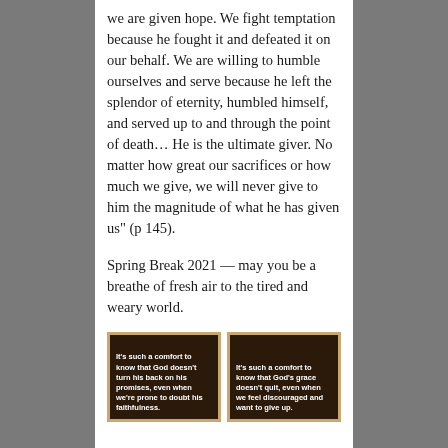we are given hope. We fight temptation because he fought it and defeated it on our behalf. We are willing to humble ourselves and serve because he left the splendor of eternity, humbled himself, and served up to and through the point of death... He is the ultimate giver. No matter how great our sacrifices or how much we give, we will never give to him the magnitude of what he has given us" (p 145).
Spring Break 2021 — may you be a breathe of fresh air to the tired and weary world.
[Figure (illustration): Dark brown card with golden border containing white bold text: It's such a comfort to know that God doesn't turn his back on his promises, even when we're prone to doubt his faithfulness.]
[Figure (illustration): Dark brown card with golden border containing white bold text: It's such a comfort to know that God's grace doesn't quit, even when we feel discouraged and want to give up.]